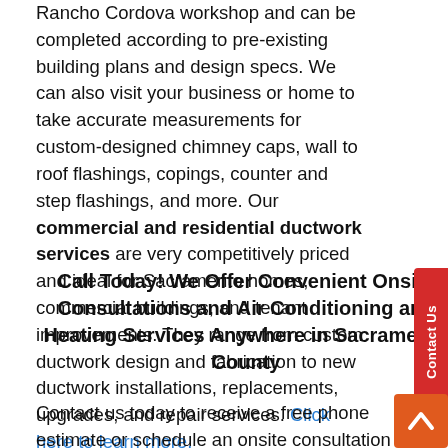Rancho Cordova workshop and can be completed according to pre-existing building plans and design specs. We can also visit your business or home to take accurate measurements for custom-designed chimney caps, wall to roof flashings, copings, counter and step flashings, and more. Our commercial and residential ductwork services are very competitively priced and ideal for Sacramento homes, commercial buildings, and tenant improvements. They range from custom ductwork design and fabrication to new ductwork installations, replacements, upgrades, and repair services. Click here to learn more.
Call Today! We Offer Convenient Onsite Consultations and Air Conditioning and Heating Services Anywhere in Sacramento County
Contact us today to receive a free phone estimate or schedule an onsite consultation with a member of our